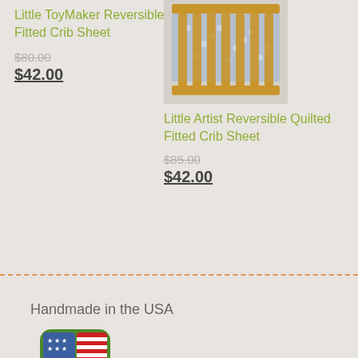Little ToyMaker Reversible Fitted Crib Sheet
$80.00
$42.00
[Figure (photo): Product photo of Little Artist Reversible Quilted Fitted Crib Sheet showing a wooden crib with blue patterned fabric]
Little Artist Reversible Quilted Fitted Crib Sheet
$85.00
$42.00
Handmade in the USA
[Figure (logo): Round badge with USA flag design showing stars and stripes, green and red colors]